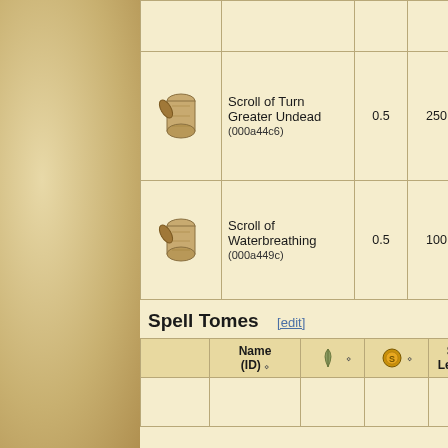|  | Name (ID) | Weight | Value | Effects |
| --- | --- | --- | --- | --- |
| [scroll img] | Scroll of Turn Greater Undead
(000a44c6) | 0.5 | 250 | U... 1... se... |
| [scroll img] | Scroll of Waterbreathing
(000a449c) | 0.5 | 100 | C... fo... |
Spell Tomes [edit]
|  | Name (ID) | Weight (feather icon) | Value (coin icon) | Spell Learned |
| --- | --- | --- | --- | --- |
|  |  |  |  |  |